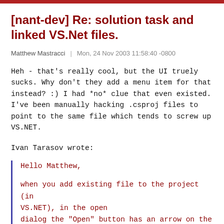[nant-dev] Re: solution task and linked VS.Net files.
Matthew Mastracci | Mon, 24 Nov 2003 11:58:40 -0800
Heh - that's really cool, but the UI truely sucks. Why don't they add a menu item for that instead? :) I had *no* clue that even existed. I've been manually hacking .csproj files to point to the same file which tends to screw up VS.NET.
Ivan Tarasov wrote:
Hello Matthew,

when you add existing file to the project (in VS.NET), in the open
dialog the "Open" button has an arrow on the right side. By clicking
on this arrow you activate the popup menu in